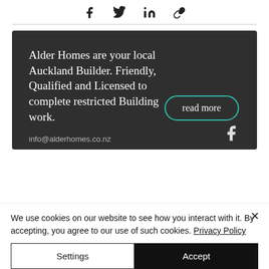[Figure (other): Social share icons: Facebook, Twitter, LinkedIn, link/chain]
[Figure (illustration): Dark grey promotional banner for Alder Homes with text: 'Alder Homes are your local Auckland Builder. Friendly, Qualified and Licensed to complete restricted Building work.' with a teal 'read more' button, info@alderhomes.co.nz text, and Facebook icon at bottom.]
We use cookies on our website to see how you interact with it. By accepting, you agree to our use of such cookies. Privacy Policy